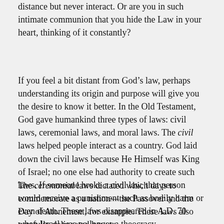distance but never interact. Or are you in such intimate communion that you hide the Law in your heart, thinking of it constantly?
If you feel a bit distant from God’s law, perhaps understanding its origin and purpose will give you the desire to know it better. In the Old Testament, God gave humankind three types of laws: civil laws, ceremonial laws, and moral laws. The civil laws helped people interact as a country. God laid down the civil laws because He Himself was King of Israel; no one else had authority to create such laws. If someone broke a civil law, that person would receive a punishment such as bodily harm or even death. These laws disappeared in A.D. 70 when Israel was no longer a theocracy.
The ceremonial laws dictated which days to commemorate as a nation—the Passover and the Day of Atonement, for example. These laws also carefully delineated how to